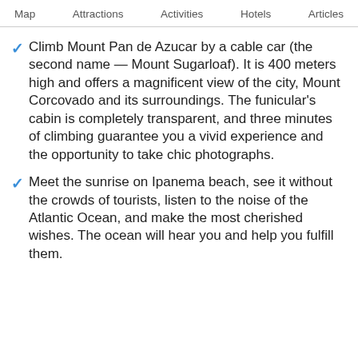Map  Attractions  Activities  Hotels  Articles
Climb Mount Pan de Azucar by a cable car (the second name — Mount Sugarloaf). It is 400 meters high and offers a magnificent view of the city, Mount Corcovado and its surroundings. The funicular's cabin is completely transparent, and three minutes of climbing guarantee you a vivid experience and the opportunity to take chic photographs.
Meet the sunrise on Ipanema beach, see it without the crowds of tourists, listen to the noise of the Atlantic Ocean, and make the most cherished wishes. The ocean will hear you and help you fulfill them.